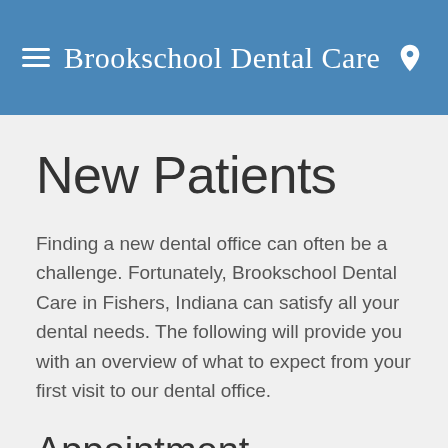Brookschool Dental Care
New Patients
Finding a new dental office can often be a challenge. Fortunately, Brookschool Dental Care in Fishers, Indiana can satisfy all your dental needs. The following will provide you with an overview of what to expect from your first visit to our dental office.
Appointment Reminders